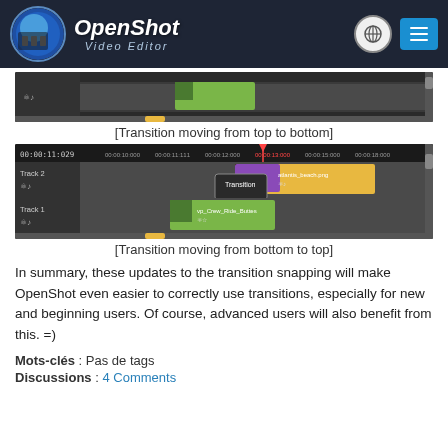OpenShot Video Editor
[Figure (screenshot): Screenshot of OpenShot timeline showing transition moving from top to bottom]
[Transition moving from top to bottom]
[Figure (screenshot): Screenshot of OpenShot timeline showing transition moving from bottom to top, with a popup tooltip showing transition snapping]
[Transition moving from bottom to top]
In summary, these updates to the transition snapping will make OpenShot even easier to correctly use transitions, especially for new and beginning users. Of course, advanced users will also benefit from this. =)
Mots-clés : Pas de tags
Discussions : 4 Comments